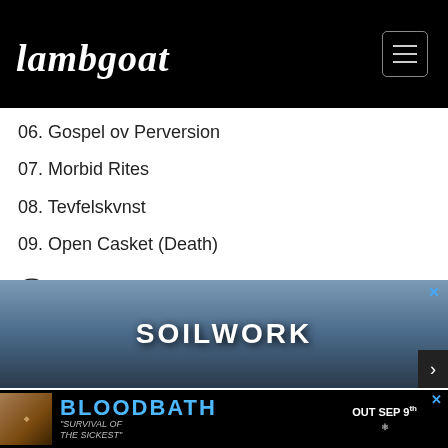Lambgoat
06. Gospel ov Perversion
07. Morbid Rites
08. Tevfelskvnst
09. Open Casket (Death)
0 COMMENTS
TAGS: Metal Blade Records  AntropomorphiA
[Figure (screenshot): Advertisement banner for Soilwork with dark blue/grey background and tree silhouette]
[Figure (screenshot): Advertisement banner for Bloodbath - Survival of the Sickest, Out Sep 9th]